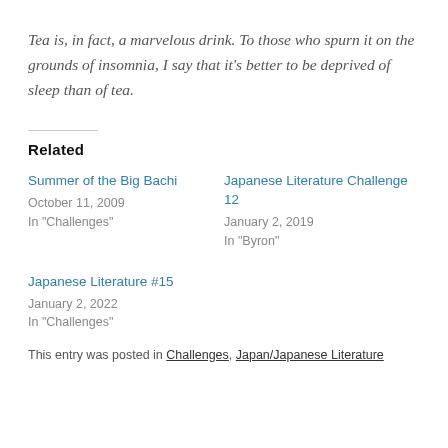Tea is, in fact, a marvelous drink. To those who spurn it on the grounds of insomnia, I say that it's better to be deprived of sleep than of tea.
Related
Summer of the Big Bachi
October 11, 2009
In "Challenges"
Japanese Literature Challenge 12
January 2, 2019
In "Byron"
Japanese Literature #15
January 2, 2022
In "Challenges"
This entry was posted in Challenges, Japan/Japanese Literature